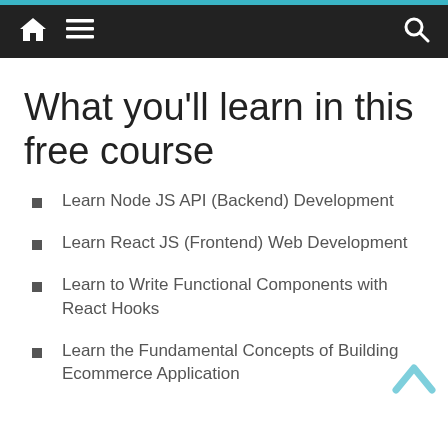Navigation bar with home, menu, and search icons
What you'll learn in this free course
Learn Node JS API (Backend) Development
Learn React JS (Frontend) Web Development
Learn to Write Functional Components with React Hooks
Learn the Fundamental Concepts of Building Ecommerce Application